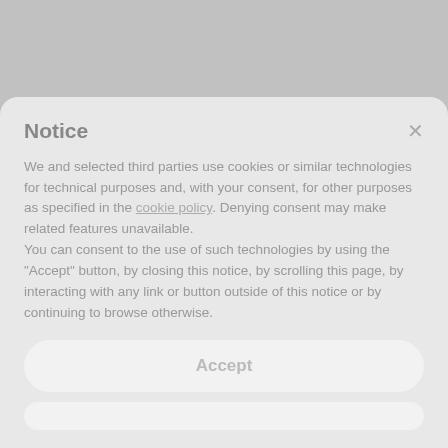Notice
We and selected third parties use cookies or similar technologies for technical purposes and, with your consent, for other purposes as specified in the cookie policy. Denying consent may make related features unavailable.
You can consent to the use of such technologies by using the "Accept" button, by closing this notice, by scrolling this page, by interacting with any link or button outside of this notice or by continuing to browse otherwise.
Accept